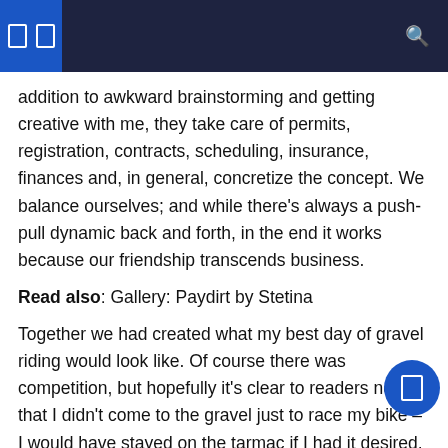addition to awkward brainstorming and getting creative with me, they take care of permits, registration, contracts, scheduling, insurance, finances and, in general, concretize the concept. We balance ourselves; and while there’s always a push-pull dynamic back and forth, in the end it works because our friendship transcends business.
Read also: Gallery: Paydirt by Stetina
Together we had created what my best day of gravel riding would look like. Of course there was competition, but hopefully it’s clear to readers now that I didn’t come to the gravel just to race my bike – I would have stayed on the tarmac if I had it desired. I’m serious that I’m in love with the communal lifestyle and adventure. The question was, how could I keep my racing peers happy while focusing on all the